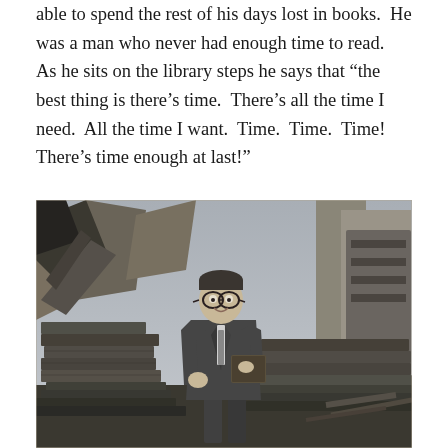able to spend the rest of his days lost in books. He was a man who never had enough time to read. As he sits on the library steps he says that “the best thing is there’s time. There’s all the time I need. All the time I want. Time. Time. Time! There’s time enough at last!”
[Figure (photo): Black and white photograph of a man in a suit and glasses standing among piles of books and rubble, smiling and holding a book, with destroyed structures in the background.]